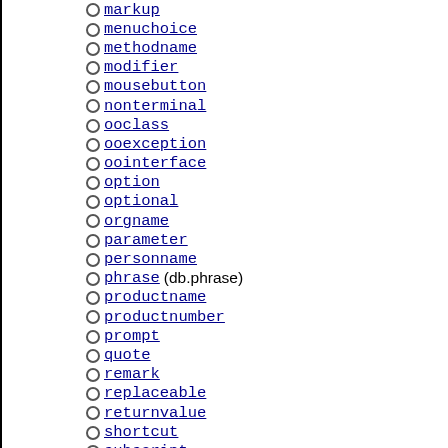markup
menuchoice
methodname
modifier
mousebutton
nonterminal
ooclass
ooexception
oointerface
option
optional
orgname
parameter
personname
phrase (db.phrase)
productname
productnumber
prompt
quote
remark
replaceable
returnvalue
shortcut
subscript
superscript
symbol